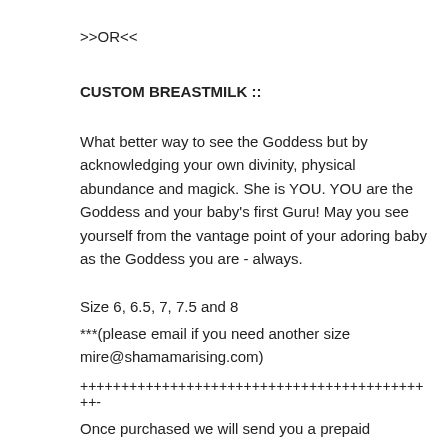>>OR<<
CUSTOM BREASTMILK ::
What better way to see the Goddess but by acknowledging your own divinity, physical abundance and magick. She is YOU. YOU are the Goddess and your baby's first Guru! May you see yourself from the vantage point of your adoring baby as the Goddess you are - always.
Size 6, 6.5, 7, 7.5 and 8
***(please email if you need another size mire@shamamarising.com)
++++++++++++++++++++++++++++++++++++++++++++-
Once purchased we will send you a prepaid